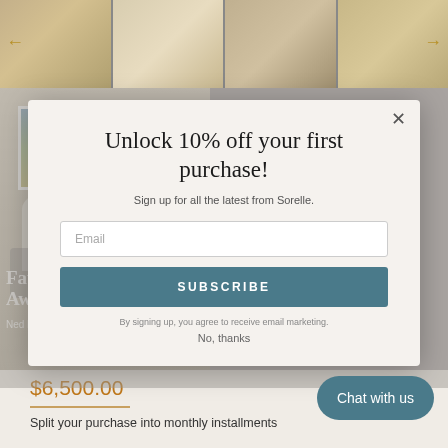[Figure (photo): Four product images of artwork in room settings shown in a horizontal strip at top, with left and right navigation arrows]
[Figure (photo): Room scene with landscape painting, lamp, side table with flowers and books, and gray armchair. Text overlay: Fausto's Awakening, Ned Martin]
Unlock 10% off your first purchase!
Sign up for all the latest from Sorelle.
Email
SUBSCRIBE
By signing up, you agree to receive email marketing.
No, thanks
$6,500.00
Split your purchase into monthly installments
Chat with us